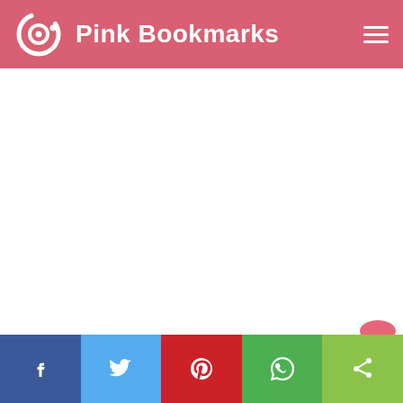Pink Bookmarks
[Figure (screenshot): Pink Bookmarks website screenshot showing a pink header with logo and site title, white content area, and a bottom share bar with Facebook, Twitter, Pinterest, WhatsApp, and generic share buttons.]